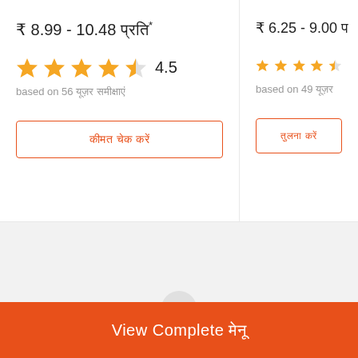₹ 8.99 - 10.48 □□□□*
4.5 stars rating
based on 56 □□□ □□□□□□
□□□□□ □□□□ □□□□□□
₹ 6.25 - 9.00 □
4.5 stars rating
based on 49 □□□ □□□□□
□□□□□□□□□□
View Complete □□□